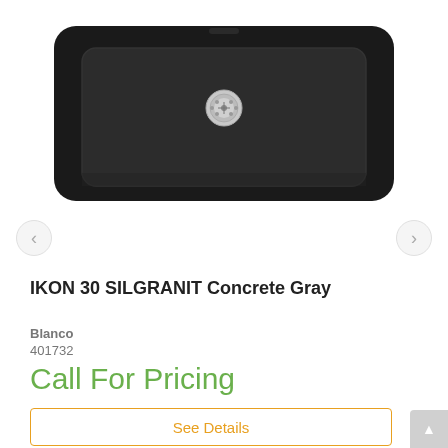[Figure (photo): Black IKON 30 SILGRANIT kitchen sink with rounded corners and a stainless steel drain strainer in the center, shown from above on a white background.]
IKON 30 SILGRANIT Concrete Gray
Blanco
401732
Call For Pricing
See Details